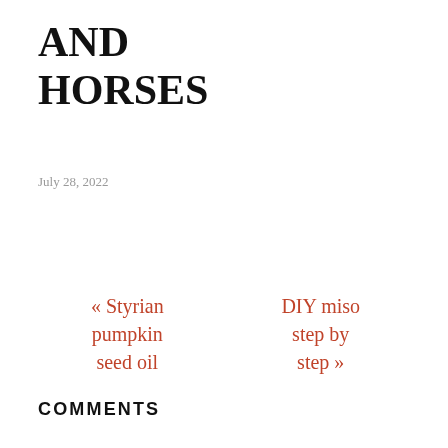AND HORSES
July 28, 2022
« Styrian pumpkin seed oil
DIY miso step by step »
COMMENTS